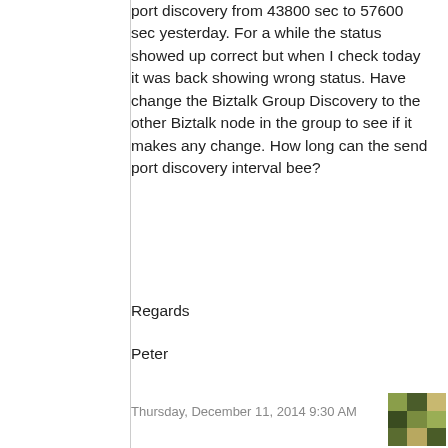port discovery from 43800 sec to 57600 sec yesterday. For a while the status showed up correct but when I check today it was back showing wrong status. Have change the Biztalk Group Discovery to the other Biztalk node in the group to see if it makes any change. How long can the send port discovery interval bee?
Regards
Peter
Thursday, December 11, 2014 9:30 AM